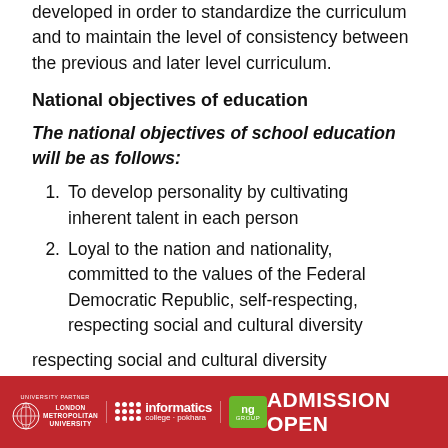developed in order to standardize the curriculum and to maintain the level of consistency between the previous and later level curriculum.
National objectives of education
The national objectives of school education will be as follows:
To develop personality by cultivating inherent talent in each person
Loyal to the nation and nationality, committed to the values of the Federal Democratic Republic, self-respecting, respecting social and cultural diversity
UNIVERSITY PARTNER LONDON METROPOLITAN UNIVERSITY | informatics college · pokhara | ng GROUP | ADMISSION OPEN
citizens.